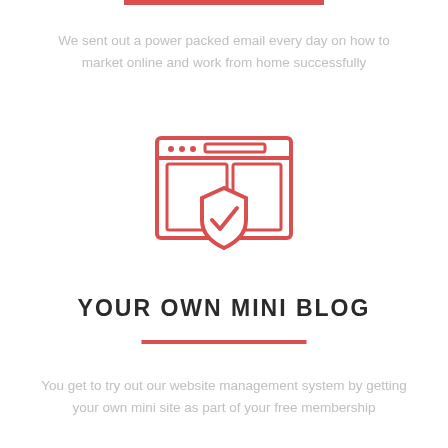We sent out a power packed email every day on how to market online and work from home successfully
[Figure (illustration): Line art icon of a browser window with a shield and checkmark inside, in red/coral color]
YOUR OWN MINI BLOG
You get to try out our website management system by getting your own mini site as part of your free membership